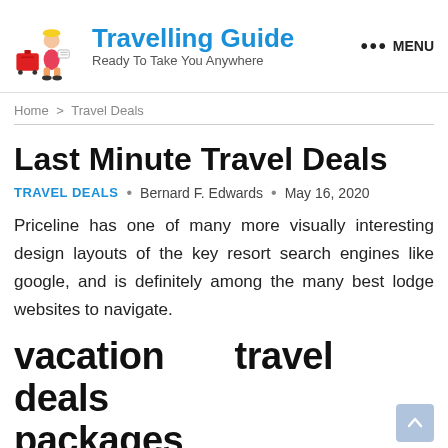Travelling Guide — Ready To Take You Anywhere — MENU
Home > Travel Deals
Last Minute Travel Deals
TRAVEL DEALS · Bernard F. Edwards · May 16, 2020
Priceline has one of many more visually interesting design layouts of the key resort search engines like google, and is definitely among the many best lodge websites to navigate.
vacation travel deals packages